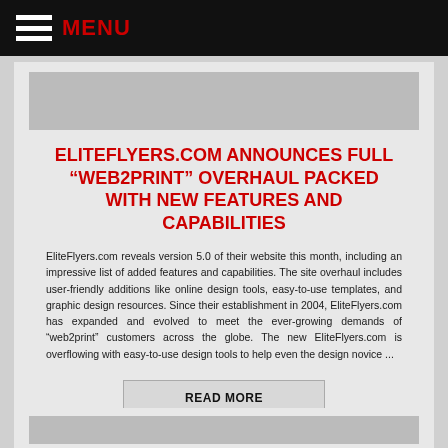MENU
ELITEFLYERS.COM ANNOUNCES FULL “WEB2PRINT” OVERHAUL PACKED WITH NEW FEATURES AND CAPABILITIES
EliteFlyers.com reveals version 5.0 of their website this month, including an impressive list of added features and capabilities. The site overhaul includes user-friendly additions like online design tools, easy-to-use templates, and graphic design resources. Since their establishment in 2004, EliteFlyers.com has expanded and evolved to meet the ever-growing demands of “web2print” customers across the globe. The new EliteFlyers.com is overflowing with easy-to-use design tools to help even the design novice ...
READ MORE